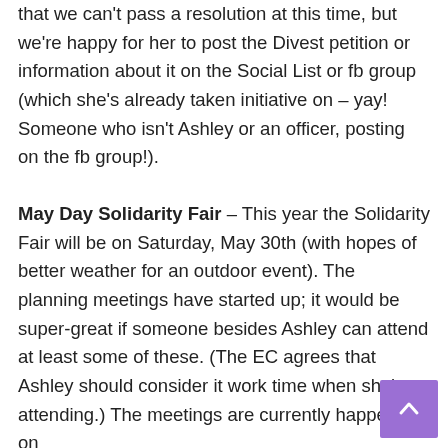that we can't pass a resolution at this time, but we're happy for her to post the Divest petition or information about it on the Social List or fb group (which she's already taken initiative on – yay! Someone who isn't Ashley or an officer, posting on the fb group!).
May Day Solidarity Fair – This year the Solidarity Fair will be on Saturday, May 30th (with hopes of better weather for an outdoor event). The planning meetings have started up; it would be super-great if someone besides Ashley can attend at least some of these. (The EC agrees that Ashley should consider it work time when she's attending.) The meetings are currently happening on